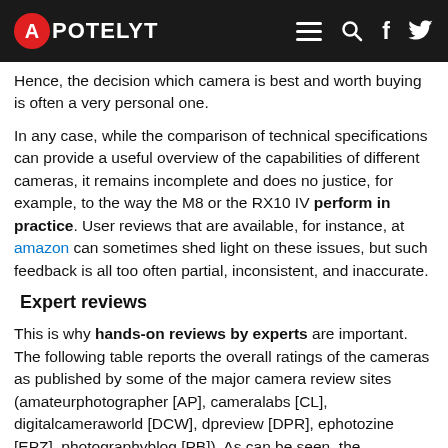APOTELYT
Hence, the decision which camera is best and worth buying is often a very personal one.
In any case, while the comparison of technical specifications can provide a useful overview of the capabilities of different cameras, it remains incomplete and does no justice, for example, to the way the M8 or the RX10 IV perform in practice. User reviews that are available, for instance, at amazon can sometimes shed light on these issues, but such feedback is all too often partial, inconsistent, and inaccurate.
Expert reviews
This is why hands-on reviews by experts are important. The following table reports the overall ratings of the cameras as published by some of the major camera review sites (amateurphotographer [AP], cameralabs [CL], digitalcameraworld [DCW], dpreview [DPR], ephotozine [EPZ], photographyblog [PB]). As can be seen, the professional reviewers agree in many cases on the quality